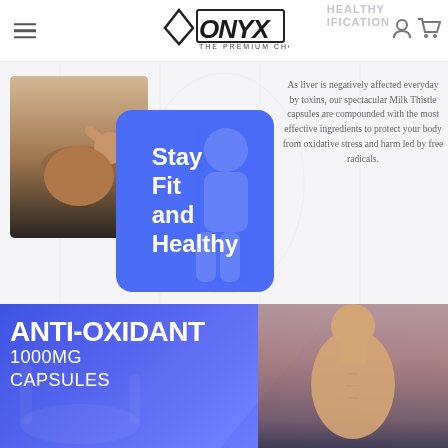[Figure (logo): ONYX - The Premium Choice logo with diamond icon, black bold text]
HEALTHY IFICATION
[Figure (photo): Fitness man doing sit-ups shirtless in gym]
[Figure (infographic): Blue rounded rectangle promo box with white text: Stay Fit and Healthy]
As liver is negatively affected everyday by toxins, our spectacular Milk Thistle capsules are compounded with the most effective ingredients to protect your body from oxidative stress and harm led by free radicals.
[Figure (photo): Blue banner with muscular shirtless man and text: ANTI-OXIDANT 1000MG CAPSULES]